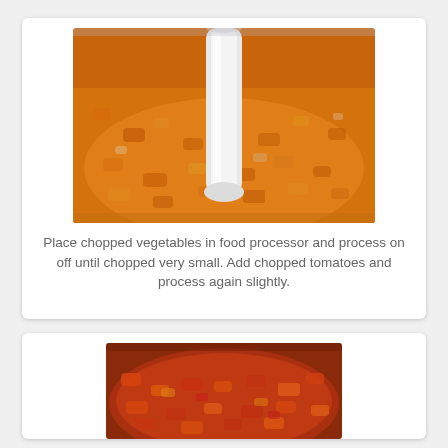[Figure (photo): Close-up photo of chopped orange vegetables (carrots and onions) being processed in a food processor, with the central white blade/stem visible.]
Place chopped vegetables in food processor and process on off until chopped very small. Add chopped tomatoes and process again slightly.
[Figure (photo): Close-up photo of chopped vegetables with tomatoes mixed in, showing a reddish-orange color in a large pot or bowl.]